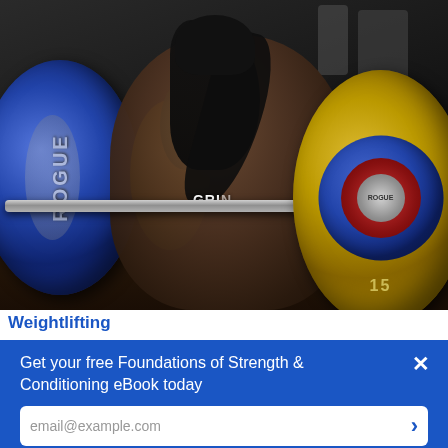[Figure (photo): A female weightlifter performing a clean or front squat with a loaded barbell featuring blue and yellow Rogue bumper plates, in a gym setting. She is wearing a black sports bra with 'GRI' visible on it, with braided hair. Rogue logo plates visible on both sides.]
Weightlifting
Get your free Foundations of Strength & Conditioning eBook today
email@example.com